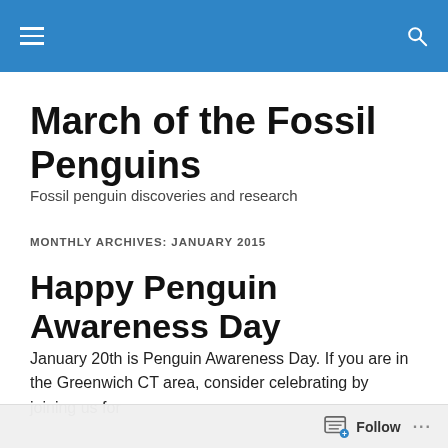Navigation bar with hamburger menu and search icon
March of the Fossil Penguins
Fossil penguin discoveries and research
MONTHLY ARCHIVES: JANUARY 2015
Happy Penguin Awareness Day
January 20th is Penguin Awareness Day. If you are in the Greenwich CT area, consider celebrating by joining us for
Follow ...